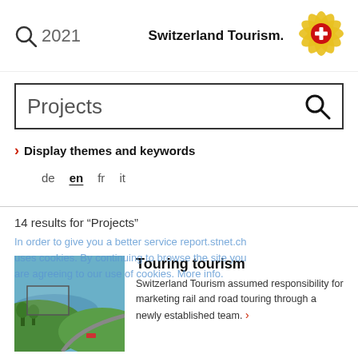2021 Switzerland Tourism.
[Figure (logo): Switzerland Tourism logo: golden edelweiss flower with red center featuring white cross]
Projects (search box)
Display themes and keywords
de  en  fr  it
14 results for “Projects”
In order to give you a better service report.stnet.ch uses cookies. By continuing to browse the site you are agreeing to our use of cookies. More info.
[Figure (photo): Aerial view of Swiss lake and green landscape with road]
Touring tourism
Switzerland Tourism assumed responsibility for marketing rail and road touring through a newly established team.